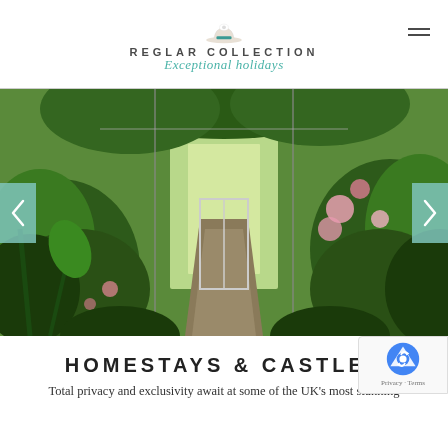REGLAR COLLECTION — Exceptional holidays
[Figure (photo): Lush garden greenhouse corridor with climbing plants, tropical flowers in pink and red, a stone path leading to a glass door opening to a green lawn beyond. Carousel navigation arrows on left and right sides with teal/turquoise background.]
HOMESTAYS & CASTLES
Total privacy and exclusivity await at some of the UK's most stunning